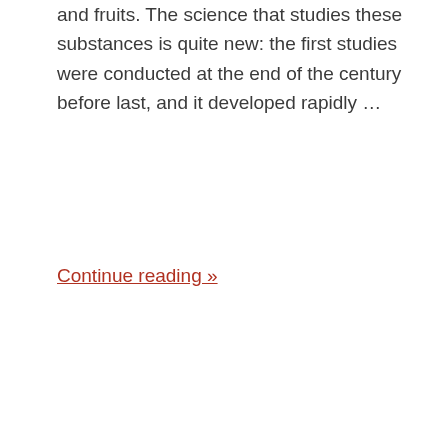and fruits. The science that studies these substances is quite new: the first studies were conducted at the end of the century before last, and it developed rapidly …
Continue reading »